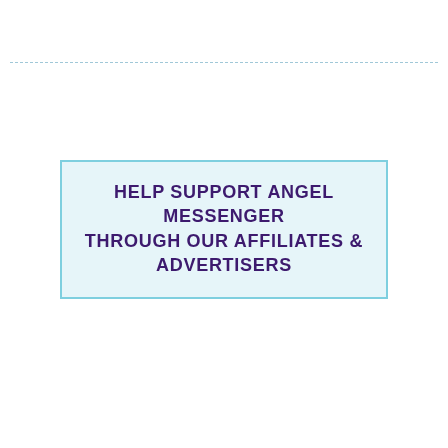HELP SUPPORT ANGEL MESSENGER THROUGH OUR AFFILIATES & ADVERTISERS
[Figure (infographic): Advertisement banner for women's daily deals (Jewelry, Clothes, Shoes) with a 'Shop Now' button on a blue gradient background.]